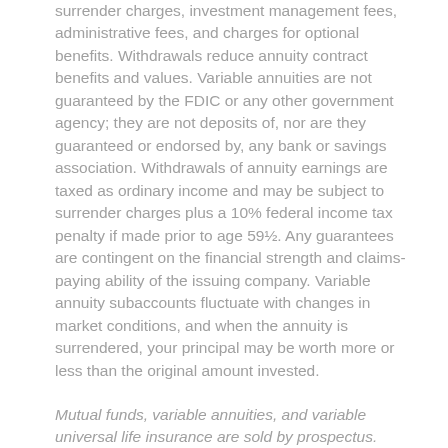surrender charges, investment management fees, administrative fees, and charges for optional benefits. Withdrawals reduce annuity contract benefits and values. Variable annuities are not guaranteed by the FDIC or any other government agency; they are not deposits of, nor are they guaranteed or endorsed by, any bank or savings association. Withdrawals of annuity earnings are taxed as ordinary income and may be subject to surrender charges plus a 10% federal income tax penalty if made prior to age 59½. Any guarantees are contingent on the financial strength and claims-paying ability of the issuing company. Variable annuity subaccounts fluctuate with changes in market conditions, and when the annuity is surrendered, your principal may be worth more or less than the original amount invested.
Mutual funds, variable annuities, and variable universal life insurance are sold by prospectus. Please consider the investment objectives, risks